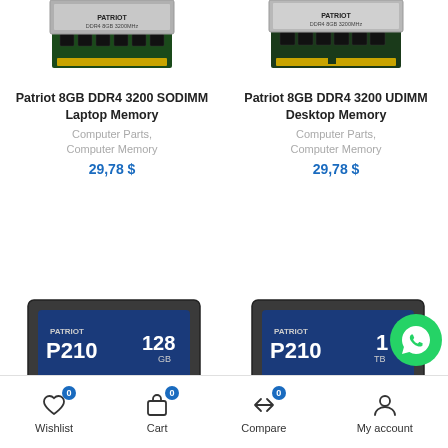[Figure (photo): Patriot 8GB DDR4 3200 SODIMM Laptop Memory module photo (partial, top-cropped)]
Patriot 8GB DDR4 3200 SODIMM Laptop Memory
Computer Parts, Computer Memory
29,78 $
[Figure (photo): Patriot 8GB DDR4 3200 UDIMM Desktop Memory module photo (partial, top-cropped)]
Patriot 8GB DDR4 3200 UDIMM Desktop Memory
Computer Parts, Computer Memory
29,78 $
[Figure (photo): Patriot P210 128GB SSD drive photo]
[Figure (photo): Patriot P210 1TB SSD drive photo]
Wishlist 0  Cart 0  Compare 0  My account